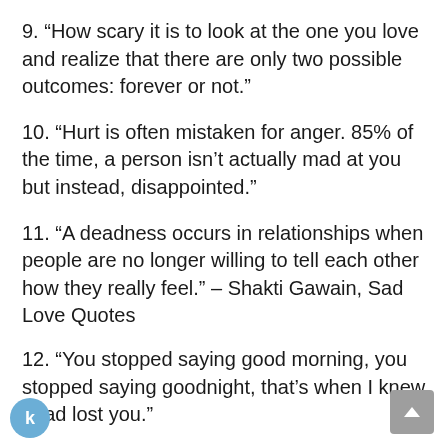9. “How scary it is to look at the one you love and realize that there are only two possible outcomes: forever or not.”
10. “Hurt is often mistaken for anger. 85% of the time, a person isn’t actually mad at you but instead, disappointed.”
11. “A deadness occurs in relationships when people are no longer willing to tell each other how they really feel.” – Shakti Gawain, Sad Love Quotes
12. “You stopped saying good morning, you stopped saying goodnight, that’s when I knew I had lost you.”